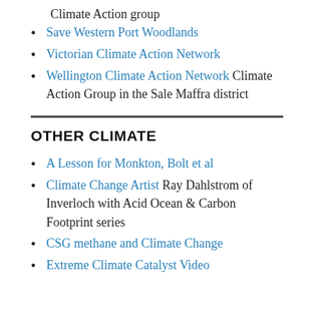Climate Action group
Save Western Port Woodlands
Victorian Climate Action Network
Wellington Climate Action Network Climate Action Group in the Sale Maffra district
OTHER CLIMATE
A Lesson for Monkton, Bolt et al
Climate Change Artist Ray Dahlstrom of Inverloch with Acid Ocean & Carbon Footprint series
CSG methane and Climate Change
Extreme Climate Catalyst Video